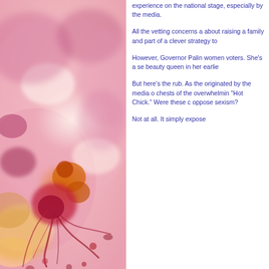[Figure (illustration): Watercolor painting with abstract splashes of pink, red, orange, yellow, and magenta on a light background, suggesting organic or floral forms.]
experience on the national stage, especially by the media.
All the vetting concerns about raising a family and part of a clever strategy to
However, Governor Palin women voters. She's a se beauty queen in her earlie
But here's the rub. As the originated by the media o chests of the overwhelmin "Hot Chick." Were these c oppose sexism?
Not at all. It simply expose